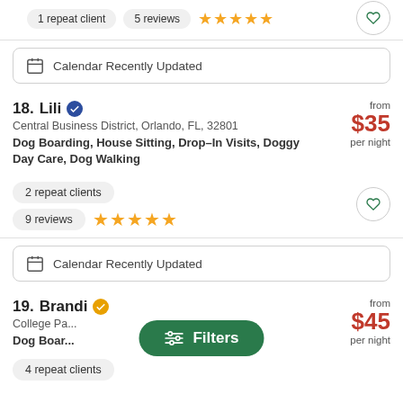1 repeat client  5 reviews  ★★★★★
Calendar Recently Updated
18. Lili
Central Business District, Orlando, FL, 32801
Dog Boarding, House Sitting, Drop-In Visits, Doggy Day Care, Dog Walking
from $35 per night
2 repeat clients
9 reviews ★★★★★
Calendar Recently Updated
19. Brandi
College Pa...
Dog Boar...
from $45 per night
4 repeat clients
Filters